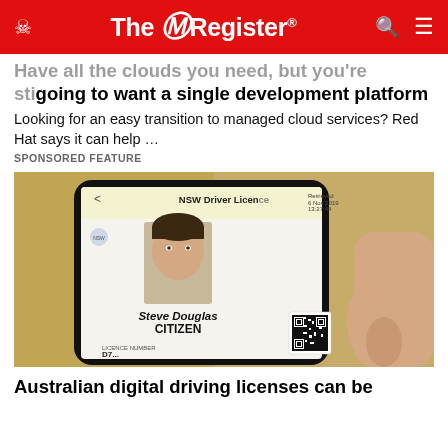The Register
Have all the clouds you need, but you're still going to want a single development platform
Looking for an easy transition to managed cloud services? Red Hat says it can help ...
SPONSORED FEATURE
[Figure (photo): Person holding a smartphone displaying an NSW Driver Licence digital ID for 'Steve Douglas CITIZEN' with a QR code and photo]
Australian digital driving licenses can be defended in court